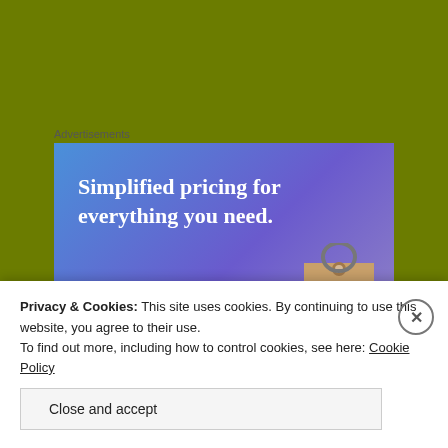Advertisements
[Figure (screenshot): Advertisement banner with blue-to-purple gradient background showing text 'Simplified pricing for everything you need.' with a pink 'Build Your Website' button and a price tag graphic on the right.]
As well as protest movements, the younger generations
Privacy & Cookies: This site uses cookies. By continuing to use this website, you agree to their use.
To find out more, including how to control cookies, see here: Cookie Policy
Close and accept